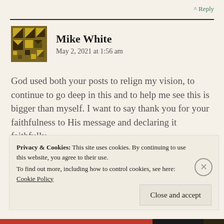^ Reply
Mike White
May 2, 2021 at 1:56 am
God used both your posts to relign my vision, to continue to go deep in this and to help me see this is bigger than myself. I want to say thank you for your faithfulness to His message and declaring it faithfully.
God bless you.
Privacy & Cookies: This site uses cookies. By continuing to use this website, you agree to their use.
To find out more, including how to control cookies, see here: Cookie Policy